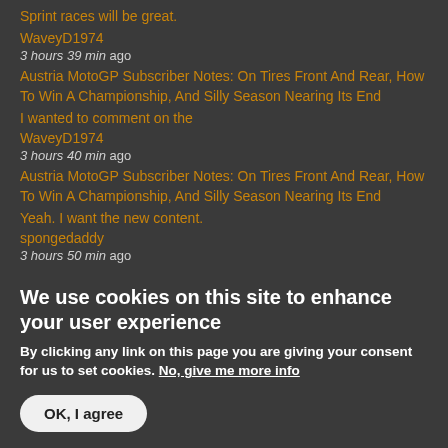Sprint races will be great.
WaveyD1974
3 hours 39 min ago
Austria MotoGP Subscriber Notes: On Tires Front And Rear, How To Win A Championship, And Silly Season Nearing Its End
I wanted to comment on the
WaveyD1974
3 hours 40 min ago
Austria MotoGP Subscriber Notes: On Tires Front And Rear, How To Win A Championship, And Silly Season Nearing Its End
Yeah. I want the new content.
spongedaddy
3 hours 50 min ago
We use cookies on this site to enhance your user experience
By clicking any link on this page you are giving your consent for us to set cookies. No, give me more info
OK, I agree